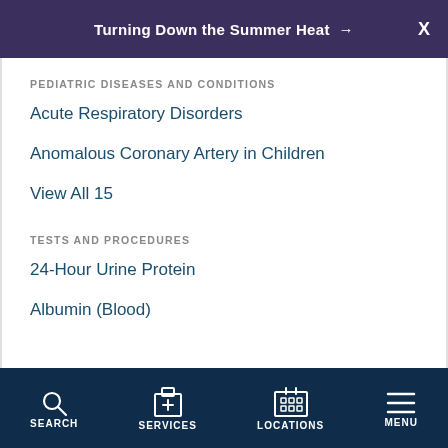Turning Down the Summer Heat →  X
PEDIATRIC DISEASES AND CONDITIONS
Acute Respiratory Disorders
Anomalous Coronary Artery in Children
View All 15
TESTS AND PROCEDURES
24-Hour Urine Protein
Albumin (Blood)
SEARCH  SERVICES  LOCATIONS  MENU